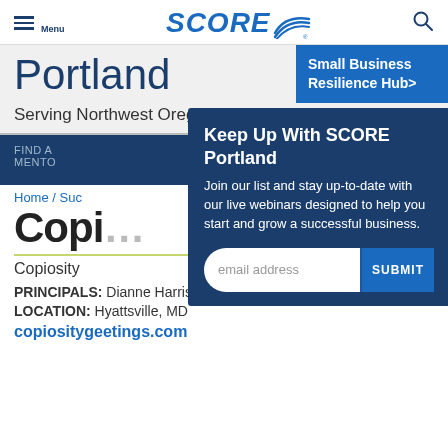Menu | SCORE | Search
Portland
Small Business Resilience Hub>
Serving Northwest Oregon
FIND A MENTO
Home / Suc
Copi
Copiosity
PRINCIPALS: Dianne Harrison and Cynthia Clarke
LOCATION: Hyattsville, MD
copiositygeetings.com
[Figure (screenshot): Popup modal: Keep Up With SCORE Portland newsletter signup with email address field and SUBMIT button]
Keep Up With SCORE Portland
Join our list and stay up-to-date with our live webinars designed to help you start and grow a successful business.